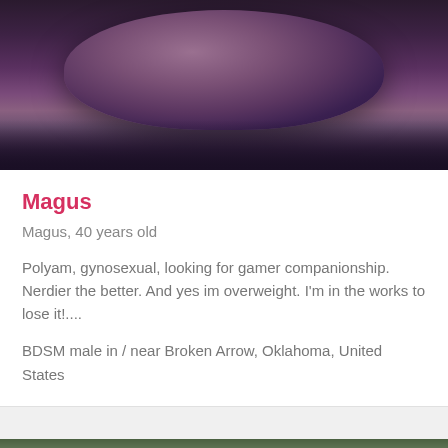[Figure (photo): Close-up photo showing the top/back of a person's head with dark purplish tones, wearing what appears to be dark clothing]
Magus
Magus, 40 years old
Polyam, gynosexual, looking for gamer companionship. Nerdier the better. And yes im overweight. I'm in the works to lose it!....
BDSM male in / near Broken Arrow, Oklahoma, United States
[Figure (photo): Partial photo visible at bottom of page showing green/outdoor tones]